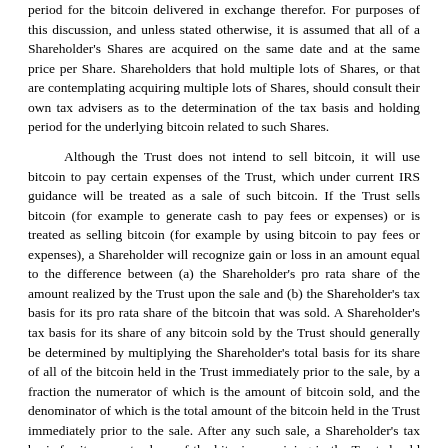period for the bitcoin delivered in exchange therefor. For purposes of this discussion, and unless stated otherwise, it is assumed that all of a Shareholder's Shares are acquired on the same date and at the same price per Share. Shareholders that hold multiple lots of Shares, or that are contemplating acquiring multiple lots of Shares, should consult their own tax advisers as to the determination of the tax basis and holding period for the underlying bitcoin related to such Shares.
Although the Trust does not intend to sell bitcoin, it will use bitcoin to pay certain expenses of the Trust, which under current IRS guidance will be treated as a sale of such bitcoin. If the Trust sells bitcoin (for example to generate cash to pay fees or expenses) or is treated as selling bitcoin (for example by using bitcoin to pay fees or expenses), a Shareholder will recognize gain or loss in an amount equal to the difference between (a) the Shareholder's pro rata share of the amount realized by the Trust upon the sale and (b) the Shareholder's tax basis for its pro rata share of the bitcoin that was sold. A Shareholder's tax basis for its share of any bitcoin sold by the Trust should generally be determined by multiplying the Shareholder's total basis for its share of all of the bitcoin held in the Trust immediately prior to the sale, by a fraction the numerator of which is the amount of bitcoin sold, and the denominator of which is the total amount of the bitcoin held in the Trust immediately prior to the sale. After any such sale, a Shareholder's tax basis for its pro rata share of the bitcoin remaining in the Trust should be equal to its tax basis for its share of the total amount of the bitcoin held in the Trust immediately prior to the sale, less the portion of such basis allocable to its share of the bitcoin that was sold.
Upon a Shareholder's sale of some or all of its Shares, the Shareholder will be treated as having sold the portion or all, respectively, of its pro rata share of the bitcoin held in the Trust at the time of the sale that is attributable to the